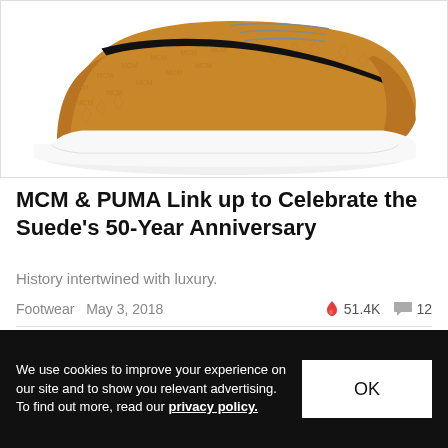[Figure (photo): A tan/cognac colored PUMA Suede sneaker with black MCM monogram pattern stripe, white sole, on white background]
MCM & PUMA Link up to Celebrate the Suede's 50-Year Anniversary
History intertwined with luxury.
Footwear   May 3, 2018   🔥 51.4K   💬 12
[Figure (photo): Partial view of a dark silhouetted figure or object against light background]
We use cookies to improve your experience on our site and to show you relevant advertising. To find out more, read our privacy policy.